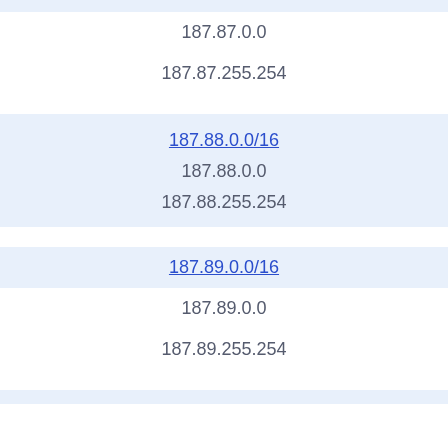| (link partial, top) |
| 187.87.0.0 |
| 187.87.255.254 |
| 187.88.0.0/16 |
| 187.88.0.0 |
| 187.88.255.254 |
| 187.89.0.0/16 |
| 187.89.0.0 |
| 187.89.255.254 |